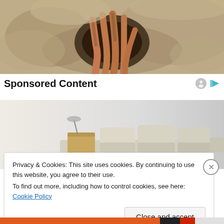[Figure (photo): Hands or fingers reaching through a hole in sand or dirt, closeup view]
Sponsored Content
[Figure (photo): Advertisement image showing modular sofa/furniture pieces arranged on a light gradient background]
Privacy & Cookies: This site uses cookies. By continuing to use this website, you agree to their use.
To find out more, including how to control cookies, see here: Cookie Policy
Close and accept